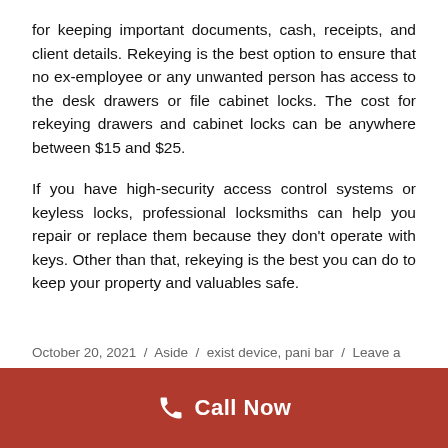for keeping important documents, cash, receipts, and client details. Rekeying is the best option to ensure that no ex-employee or any unwanted person has access to the desk drawers or file cabinet locks. The cost for rekeying drawers and cabinet locks can be anywhere between $15 and $25.
If you have high-security access control systems or keyless locks, professional locksmiths can help you repair or replace them because they don't operate with keys. Other than that, rekeying is the best you can do to keep your property and valuables safe.
October 20, 2021  /  Aside  /  exist device, pani bar  /  Leave a
[Figure (other): Red call-to-action bar with phone icon and 'Call Now' text in white]